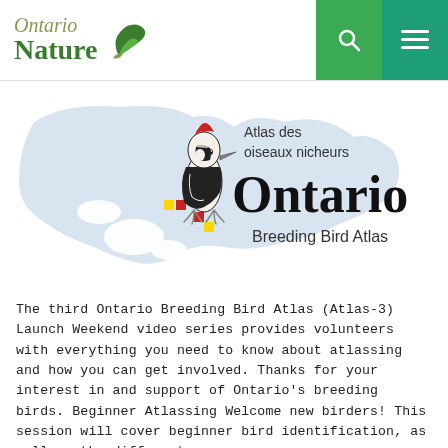Ontario Nature
[Figure (logo): Ontario Breeding Bird Atlas logo featuring a woodpecker illustration on a map of Ontario with text 'Atlas des oiseaux nicheurs Ontario Breeding Bird Atlas']
The third Ontario Breeding Bird Atlas (Atlas-3) Launch Weekend video series provides volunteers with everything you need to know about atlassing and how you can get involved. Thanks for your interest in and support of Ontario's breeding birds. Beginner Atlassing Welcome new birders! This session will cover beginner bird identification, as well as the different...